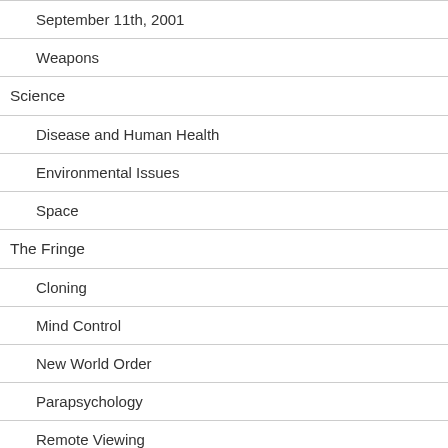September 11th, 2001
Weapons
Science
Disease and Human Health
Environmental Issues
Space
The Fringe
Cloning
Mind Control
New World Order
Parapsychology
Remote Viewing